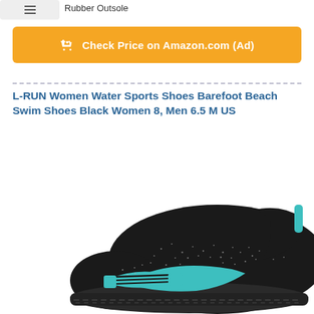Rubber Outsole
[Figure (other): Orange Amazon button with shopping cart icon: Check Price on Amazon.com (Ad)]
L-RUN Women Water Sports Shoes Barefoot Beach Swim Shoes Black Women 8, Men 6.5 M US
[Figure (photo): Black and teal/cyan water sports shoe, barefoot style with sparkle details, shown from the side at a slight angle, toe pointing left and slightly down.]